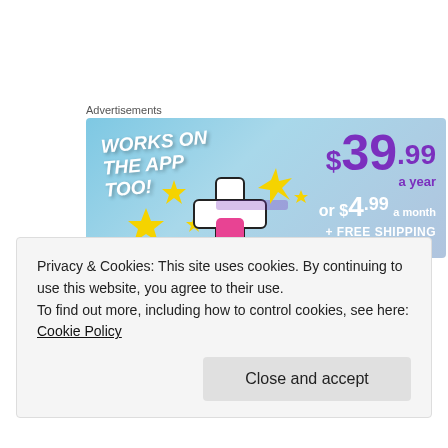Advertisements
[Figure (illustration): Advertisement banner with blue background showing 'WORKS ON THE APP TOO!' text, a plus icon graphic with sparkle stars, and pricing: $39.99 a year or $4.99 a month + FREE SHIPPING]
Composer Tatsuya Kato is a genius, simply put. I especially loved the way he incorporated Western-inspired tracks to this show; the soundtrack only makes it more flavorful (awesome
Privacy & Cookies: This site uses cookies. By continuing to use this website, you agree to their use.
To find out more, including how to control cookies, see here: Cookie Policy
Close and accept